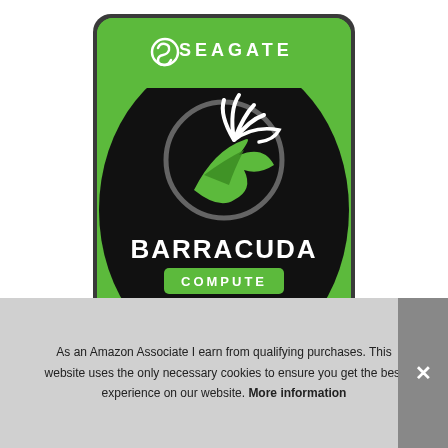[Figure (photo): Seagate BarraCuda Compute hard drive product photo. A 2.5-inch HDD with a green top label showing the Seagate logo and name at the top, a large black oval area in the center with the BarraCuda antelope/lightning bolt logo, the word 'BARRACUDA' in white bold letters, and a green rounded rectangle badge reading 'COMPUTE' in white letters.]
As an Amazon Associate I earn from qualifying purchases. This website uses the only necessary cookies to ensure you get the best experience on our website. More information